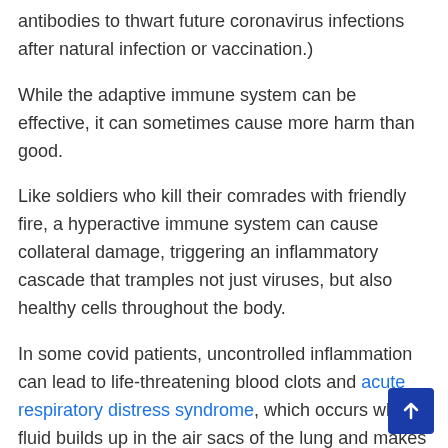antibodies to thwart future coronavirus infections after natural infection or vaccination.)
While the adaptive immune system can be effective, it can sometimes cause more harm than good.
Like soldiers who kill their comrades with friendly fire, a hyperactive immune system can cause collateral damage, triggering an inflammatory cascade that tramples not just viruses, but also healthy cells throughout the body.
In some covid patients, uncontrolled inflammation can lead to life-threatening blood clots and acute respiratory distress syndrome, which occurs when fluid builds up in the air sacs of the lung and makes it difficult to breathe, Betsy Herold said. Both are common causes of death in adult covid patients.